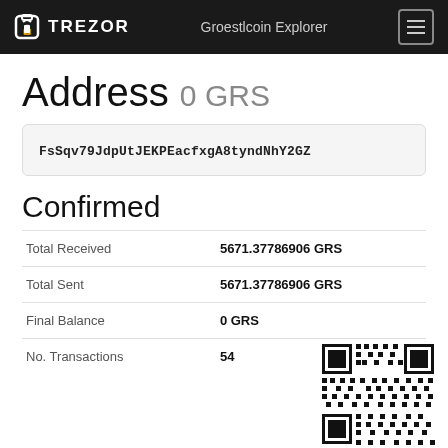TREZOR  Groestlcoin Explorer
Address 0 GRS
FsSqv79JdpUtJEKPEacfxgA8tyndNhY2GZ
Confirmed
|  |  |
| --- | --- |
| Total Received | 5671.37786906 GRS |
| Total Sent | 5671.37786906 GRS |
| Final Balance | 0 GRS |
| No. Transactions | 54 |
[Figure (other): QR code for the Groestlcoin address FsSqv79JdpUtJEKPEacfxgA8tyndNhY2GZ]